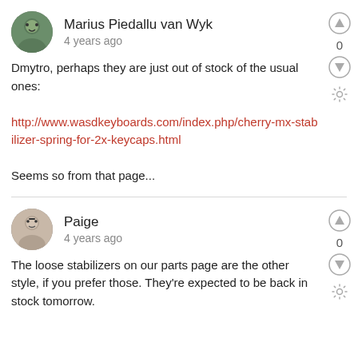Marius Piedallu van Wyk
4 years ago
Dmytro, perhaps they are just out of stock of the usual ones:

http://www.wasdkeyboards.com/index.php/cherry-mx-stabilizer-spring-for-2x-keycaps.html

Seems so from that page...
Paige
4 years ago
The loose stabilizers on our parts page are the other style, if you prefer those. They're expected to be back in stock tomorrow.